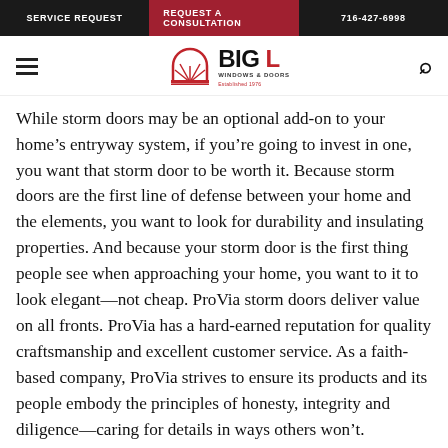SERVICE REQUEST | REQUEST A CONSULTATION | 716-427-6998
[Figure (logo): Big L Windows & Doors logo with semicircular window graphic and red accent color]
While storm doors may be an optional add-on to your home’s entryway system, if you’re going to invest in one, you want that storm door to be worth it. Because storm doors are the first line of defense between your home and the elements, you want to look for durability and insulating properties. And because your storm door is the first thing people see when approaching your home, you want to it to look elegant—not cheap. ProVia storm doors deliver value on all fronts. ProVia has a hard-earned reputation for quality craftsmanship and excellent customer service. As a faith-based company, ProVia strives to ensure its products and its people embody the principles of honesty, integrity and diligence—caring for details in ways others won’t.